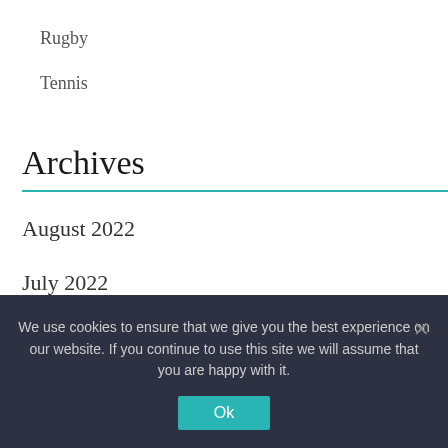Rugby
Tennis
Archives
August 2022
July 2022
June 2022
May 2022
We use cookies to ensure that we give you the best experience on our website. If you continue to use this site we will assume that you are happy with it.